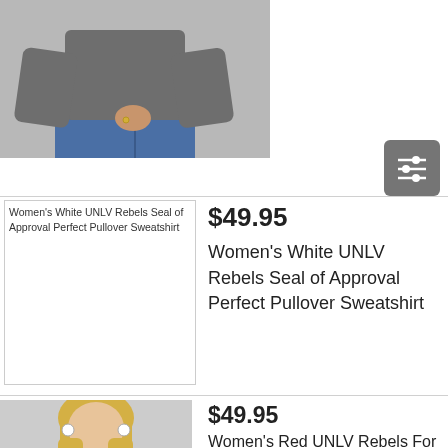[Figure (photo): Partial view of a person wearing a gray sweatshirt and blue jeans, hands behind back, cropped at top of image]
[Figure (screenshot): Filter/sort icon button with three horizontal sliders, gray background, rounded corners]
[Figure (photo): Broken image placeholder showing alt text: Women's White UNLV Rebels Seal of Approval Perfect Pullover Sweatshirt]
$49.95
Women's White UNLV Rebels Seal of Approval Perfect Pullover Sweatshirt
[Figure (photo): Woman with blonde hair wearing a red long-sleeve sweatshirt with Las Vegas/UNLV Rebels text, partially visible]
$49.95
Women's Red UNLV Rebels For the Home